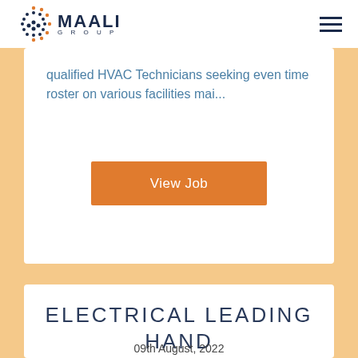MAALI GROUP
qualified HVAC Technicians seeking even time roster on various facilities mai...
View Job
ELECTRICAL LEADING HAND
09th August, 2022